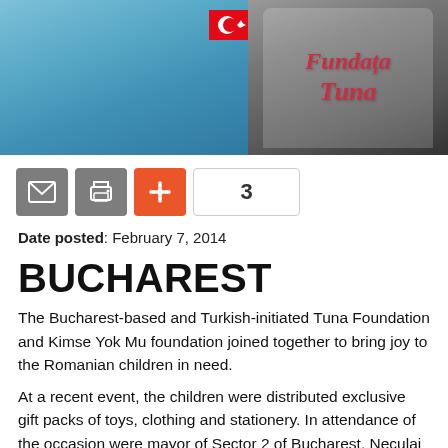[Figure (photo): Photo of people wearing a blue Turkish football jersey with a Turkish flag patch and a white vest/apron with gothic text reading 'Fundatsa Tuna']
[Figure (other): Toolbar with email icon button, print icon button, orange plus button, and a count badge showing '3']
Date posted: February 7, 2014
BUCHAREST
The Bucharest-based and Turkish-initiated Tuna Foundation and Kimse Yok Mu foundation joined together to bring joy to the Romanian children in need.
At a recent event, the children were distributed exclusive gift packs of toys, clothing and stationery. In attendance of the occasion were mayor of Sector 2 of Bucharest, Neculai Ontanu; the renowned Romanian singer, Nicoleta Matei, and Kimse Yok Mu Foundation representative, Orhan Erdogan.
The children gave a traditional welcome to the officials by serving bread and salt on arrival. Their stage performances also received a round of applause from the guests. Nicoleta Matei later joined the